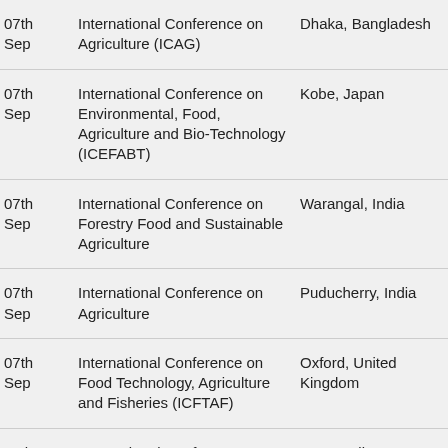| Date | Conference | Location |
| --- | --- | --- |
| 07th Sep | International Conference on Agriculture (ICAG) | Dhaka, Bangladesh |
| 07th Sep | International Conference on Environmental, Food, Agriculture and Bio-Technology (ICEFABT) | Kobe, Japan |
| 07th Sep | International Conference on Forestry Food and Sustainable Agriculture | Warangal, India |
| 07th Sep | International Conference on Agriculture | Puducherry, India |
| 07th Sep | International Conference on Food Technology, Agriculture and Fisheries (ICFTAF) | Oxford, United Kingdom |
| 07th Sep | International Conference on Environmental, Food, Agriculture and Bio-Technology (ICEFABT) | Durg, India |